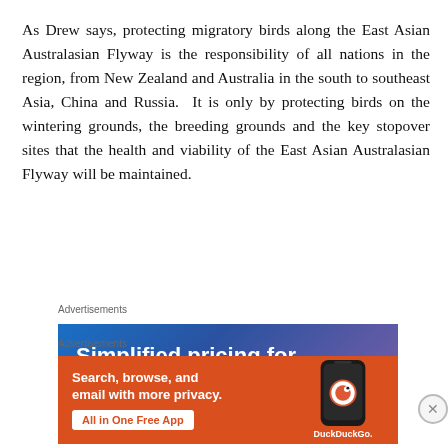As Drew says, protecting migratory birds along the East Asian Australasian Flyway is the responsibility of all nations in the region, from New Zealand and Australia in the south to southeast Asia, China and Russia. It is only by protecting birds on the wintering grounds, the breeding grounds and the key stopover sites that the health and viability of the East Asian Australasian Flyway will be maintained.
Advertisements
[Figure (other): DuckDuckGo advertisement banner with blue-purple gradient background and text 'Simplified pricing for everything you need']
Advertisements
[Figure (other): DuckDuckGo advertisement banner with orange background showing 'Search, browse, and email with more privacy. All in One Free App' with DuckDuckGo logo and phone graphic]